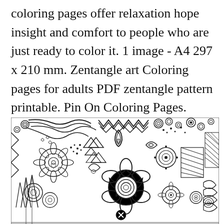coloring pages offer relaxation hope insight and comfort to people who are just ready to color it. 1 image - A4 297 x 210 mm. Zentangle art Coloring pages for adults PDF zentangle pattern printable. Pin On Coloring Pages.
[Figure (illustration): A complex zentangle art coloring page showing intricate black and white patterns including spirals, flowers, geometric shapes, mandalas, leaves, and decorative doodle elements densely packed together.]